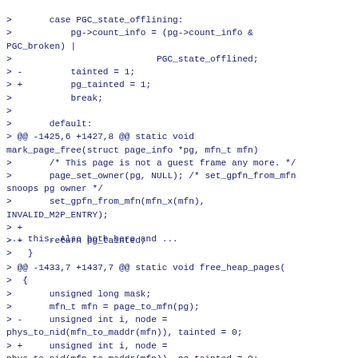>       case PGC_state_offlining:
>           pg->count_info = (pg->count_info &
PGC_broken) |
>                           PGC_state_offlined;
> -         tainted = 1;
> +         pg_tainted = 1;
>           break;
>
>       default:
> @@ -1425,6 +1427,8 @@ static void mark_page_free(struct page_info *pg, mfn_t mfn)
>       /* This page is not a guest frame any more. */
>       page_set_owner(pg, NULL); /* set_gpfn_from_mfn snoops pg owner */
>       set_gpfn_from_mfn(mfn_x(mfn),
INVALID_M2P_ENTRY);
> +
> +     return pg_tainted;
>   }
... this. Also both here and ...
> @@ -1433,7 +1437,7 @@ static void free_heap_pages(
>  {
>       unsigned long mask;
>       mfn_t mfn = page_to_mfn(pg);
> -     unsigned int i, node =
phys_to_nid(mfn_to_maddr(mfn)), tainted = 0;
> +     unsigned int i, node =
phys_to_nid(mfn_to_maddr(mfn)), pg_tainted = 0;